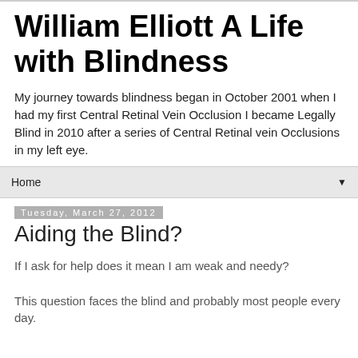William Elliott A Life with Blindness
My journey towards blindness began in October 2001 when I had my first Central Retinal Vein Occlusion I became Legally Blind in 2010 after a series of Central Retinal vein Occlusions in my left eye.
Home ▼
Tuesday, March 27, 2012
Aiding the Blind?
If I ask for help does it mean I am weak and needy?
This question faces the blind and probably most people every day.